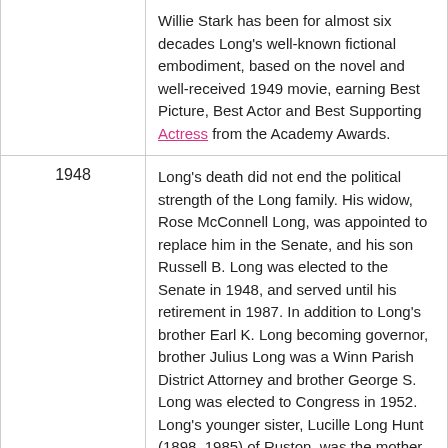| Year | Event |
| --- | --- |
|  | Willie Stark has been for almost six decades Long's well-known fictional embodiment, based on the novel and well-received 1949 movie, earning Best Picture, Best Actor and Best Supporting Actress from the Academy Awards. |
| 1948 | Long's death did not end the political strength of the Long family. His widow, Rose McConnell Long, was appointed to replace him in the Senate, and his son Russell B. Long was elected to the Senate in 1948, and served until his retirement in 1987. In addition to Long's brother Earl K. Long becoming governor, brother Julius Long was a Winn Parish District Attorney and brother George S. Long was elected to Congress in 1952. Long's younger sister, Lucille Long Hunt (1898–1985) of Ruston, was the mother of Future Public Service Commissioner John S. Hunt, II (1928–2001), of Monroe. |
| 1949 | Warren's novel was the basis of two motion pictures, a 1949 film and a more recent 2006 film, and the 1981 opera Willie Stark by American Composer Carlisle Floyd. The 1949 film won three |